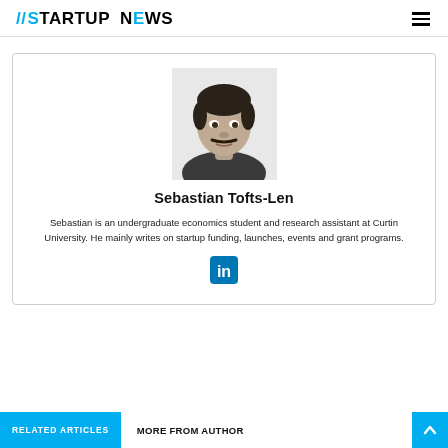//STARTUP NEWS
[Figure (photo): Black and white headshot photo of Sebastian Tofts-Len, a young man with a moustache wearing a dark top]
Sebastian Tofts-Len
Sebastian is an undergraduate economics student and research assistant at Curtin University. He mainly writes on startup funding, launches, events and grant programs.
[Figure (logo): LinkedIn 'in' icon]
RELATED ARTICLES
MORE FROM AUTHOR